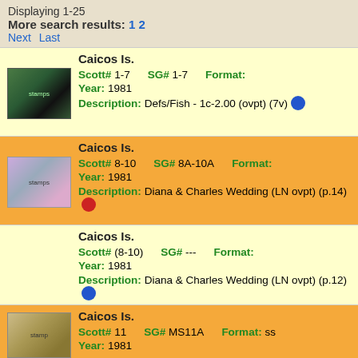Displaying 1-25
More search results: 1 2
Next Last
Caicos Is.
Scott# 1-7   SG# 1-7   Format:
Year: 1981
Description: Defs/Fish - 1c-2.00 (ovpt) (7v)
Caicos Is.
Scott# 8-10   SG# 8A-10A   Format:
Year: 1981
Description: Diana & Charles Wedding (LN ovpt) (p.14)
Caicos Is.
Scott# (8-10)   SG# ---   Format:
Year: 1981
Description: Diana & Charles Wedding (LN ovpt) (p.12)
Caicos Is.
Scott# 11   SG# MS11A   Format: ss
Year: 1981